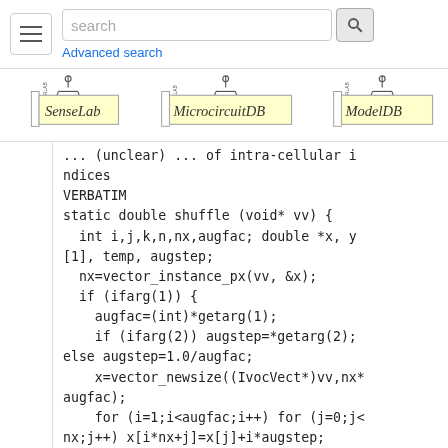[Figure (screenshot): Navigation bar with hamburger menu, search input box, search button, Advanced search link, and three logos: SenseLab, MicrocircuitDB, ModelDB]
ndices
VERBATIM
static double shuffle (void* vv) {
  int i,j,k,n,nx,augfac; double *x, y[1], temp, augstep;
  nx=vector_instance_px(vv, &x);
  if (ifarg(1)) {
    augfac=(int)*getarg(1);
    if (ifarg(2)) augstep=*getarg(2);
else augstep=1.0/augfac;
    x=vector_newsize((IvocVect*)vv,nx*augfac);
    for (i=1;i<augfac;i++) for (j=0;j<nx;j++) x[i*nx+j]=x[j]+i*augstep;
    nx*=augfac;
  }
  dshuffle(x,nx);
  return (double)nx;
}